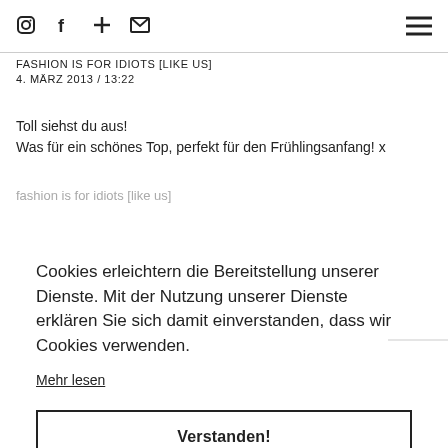Social media icons (Instagram, Facebook, plus, mail) and hamburger menu
FASHION IS FOR IDIOTS [LIKE US]
4. MÄRZ 2013 / 13:22
Toll siehst du aus!
Was für ein schönes Top, perfekt für den Frühlingsanfang! x
fashion is for idiots [like us]
Cookies erleichtern die Bereitstellung unserer Dienste. Mit der Nutzung unserer Dienste erklären Sie sich damit einverstanden, dass wir Cookies verwenden.
Mehr lesen
Verstanden!